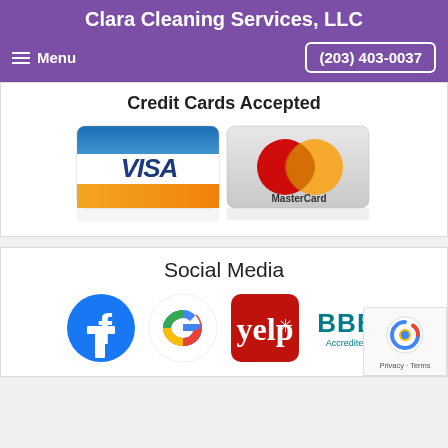Clara Cleaning Services, LLC
Menu  (203) 403-0037
Credit Cards Accepted
[Figure (logo): Visa and MasterCard credit card logos side by side]
Social Media
[Figure (logo): Social media icons: Facebook, Google, Yelp, BBB, and reCAPTCHA badge]